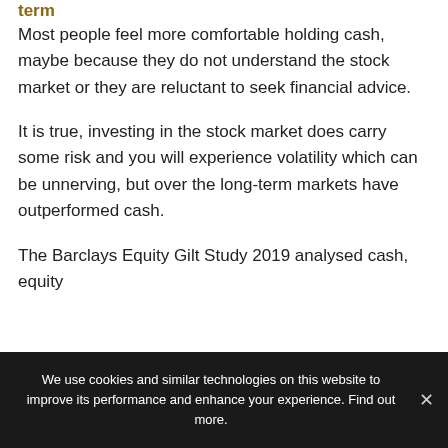term
Most people feel more comfortable holding cash, maybe because they do not understand the stock market or they are reluctant to seek financial advice.
It is true, investing in the stock market does carry some risk and you will experience volatility which can be unnerving, but over the long-term markets have outperformed cash.
The Barclays Equity Gilt Study 2019 analysed cash, equity
We use cookies and similar technologies on this website to improve its performance and enhance your experience. Find out more.